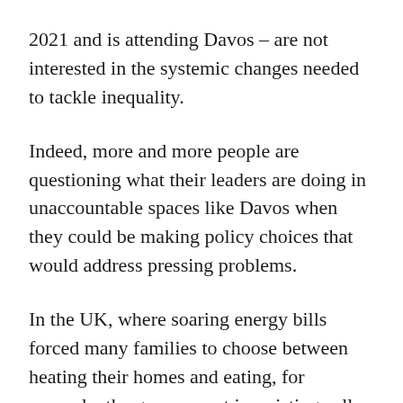2021 and is attending Davos – are not interested in the systemic changes needed to tackle inequality.
Indeed, more and more people are questioning what their leaders are doing in unaccountable spaces like Davos when they could be making policy choices that would address pressing problems.
In the UK, where soaring energy bills forced many families to choose between heating their homes and eating, for example, the government is resisting calls for a windfall tax on the profits of oil and gas companies. It is clear that the British public would rather have their leaders...